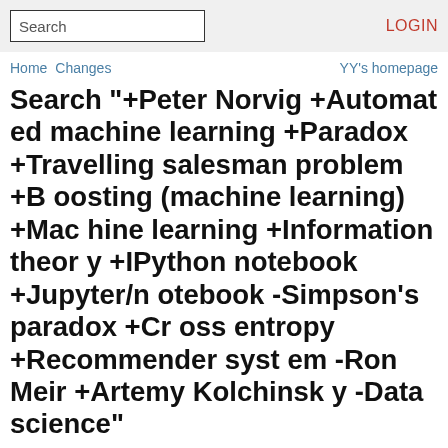Search | LOGIN
Home  Changes    YY's homepage
Search "+Peter Norvig +Automated machine learning +Paradox +Travelling salesman problem +Boosting (machine learning) +Machine learning +Information theory +IPython notebook +Jupyter/notebook -Simpson's paradox +Cross entropy +Recommender system -Ron Meir +Artemy Kolchinsky -Data science"
Pages related to: